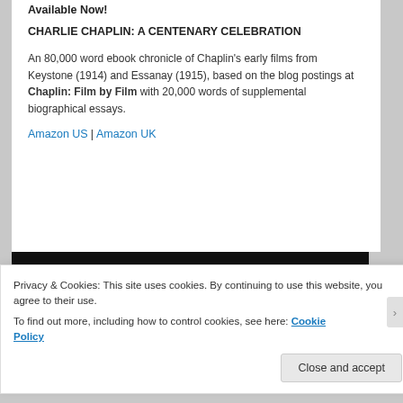Available Now!
CHARLIE CHAPLIN: A CENTENARY CELEBRATION
An 80,000 word ebook chronicle of Chaplin’s early films from Keystone (1914) and Essanay (1915), based on the blog postings at Chaplin: Film by Film with 20,000 words of supplemental biographical essays.
Amazon US | Amazon UK
[Figure (photo): Black rectangular image area]
Privacy & Cookies: This site uses cookies. By continuing to use this website, you agree to their use.
To find out more, including how to control cookies, see here: Cookie Policy
Close and accept